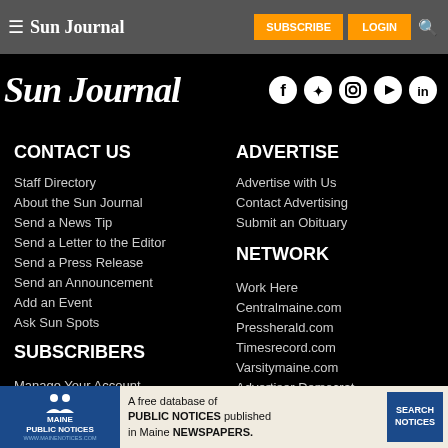Sun Journal — SUBSCRIBE | LOGIN
[Figure (logo): Sun Journal masthead logo in white italic serif text on black background, with social media icons (Facebook, Twitter, Instagram, YouTube, LinkedIn) on the right]
CONTACT US
Staff Directory
About the Sun Journal
Send a News Tip
Send a Letter to the Editor
Send a Press Release
Send an Announcement
Add an Event
Ask Sun Spots
SUBSCRIBERS
Manage Your Account
Log a Delivery Issue
ADVERTISE
Advertise with Us
Contact Advertising
Submit an Obituary
NETWORK
Work Here
Centralmaine.com
Pressherald.com
Timesrecord.com
Varsitymaine.com
Advertiser Democrat
Bethel Citizen
[Figure (infographic): Maine Public Notices advertisement banner: blue logo area with people icon and text 'Maine Public Notices www.mainenotices.com', body text 'A free database of PUBLIC NOTICES published in Maine NEWSPAPERS.', blue Search Notices button]